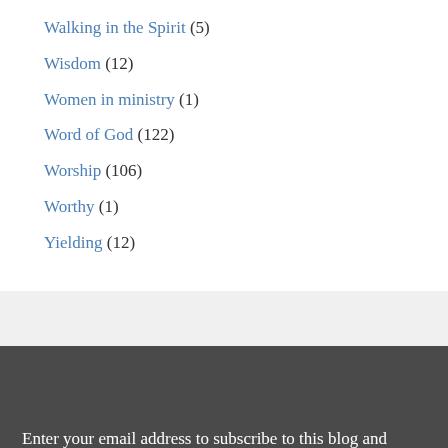Walking in the Spirit (5)
Wisdom (12)
Women in ministry (1)
Word of God (122)
Worship (106)
Worthy (1)
Yielding (12)
Enter your email address to subscribe to this blog and receive notifications of new posts by email.